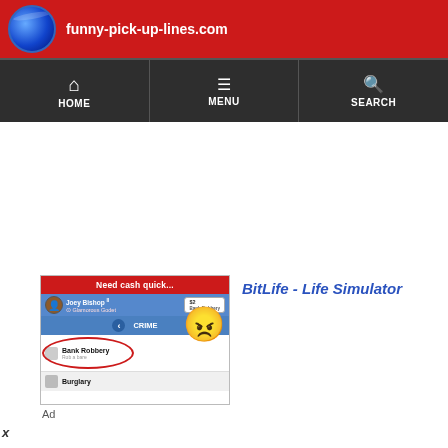funny-pick-up-lines.com
[Figure (screenshot): Navigation bar with HOME, MENU, and SEARCH icons on dark background]
[Figure (screenshot): BitLife Life Simulator ad showing a game screen with Need cash quick..., Joey Bishop character, CRIME menu with Bank Robbery option circled in red, and an angry emoji wearing a red bandana]
BitLife - Life Simulator
Ad